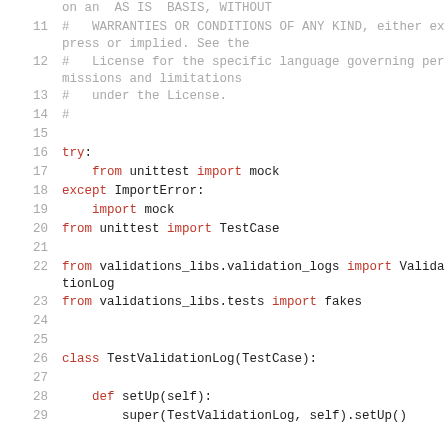on an  AS IS  BASIS, WITHOUT
11    #   WARRANTIES OR CONDITIONS OF ANY KIND, either express or implied. See the
12    #   License for the specific language governing permissions and limitations
13    #   under the License.
14    #
15
16    try:
17        from unittest import mock
18    except ImportError:
19        import mock
20    from unittest import TestCase
21
22    from validations_libs.validation_logs import ValidationLog
23    from validations_libs.tests import fakes
24
25
26    class TestValidationLog(TestCase):
27
28        def setUp(self):
29            super(TestValidationLog, self).setUp()